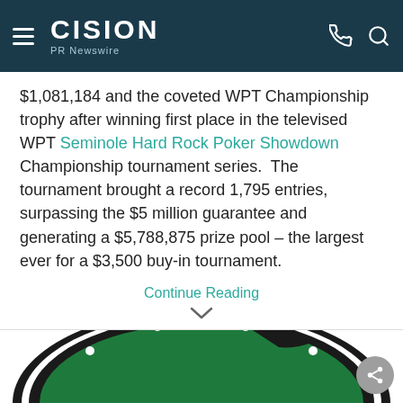CISION PR Newswire
$1,081,184 and the coveted WPT Championship trophy after winning first place in the televised WPT Seminole Hard Rock Poker Showdown Championship tournament series.  The tournament brought a record 1,795 entries, surpassing the $5 million guarantee and generating a $5,788,875 prize pool – the largest ever for a $3,500 buy-in tournament.
Continue Reading
[Figure (photo): Bottom portion of a roulette wheel with green felt, black and white sections visible, partially cropped from below]